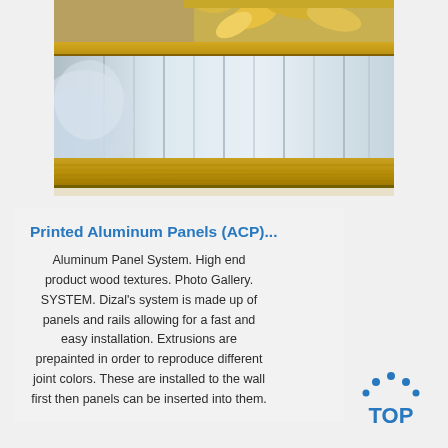[Figure (photo): Photo of aluminum composite panels (ACP) stacked, showing silver/metallic surfaces with protective plastic film and wooden framing/edge banding visible, with yellow flower decorations at top]
Printed Aluminum Panels (ACP)...
Aluminum Panel System. High end product wood textures. Photo Gallery. SYSTEM. Dizal's system is made up of panels and rails allowing for a fast and easy installation. Extrusions are prepainted in order to reproduce different joint colors. These are installed to the wall first then panels can be inserted into them.
[Figure (logo): TOP badge/logo with blue dots arranged in an arc above the word TOP in blue letters]